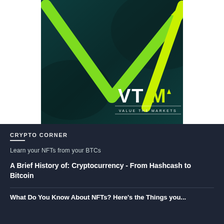[Figure (logo): VTM (Value the Markets) logo on a dark teal background with green V-shaped arrow/chart graphic]
CRYPTO CORNER
Learn your NFTs from your BTCs
A Brief History of: Cryptocurrency - From Hashcash to Bitcoin
What Do You Know About NFTs? Here's the Things you...